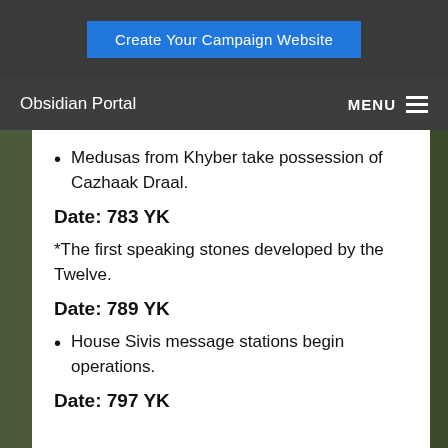Create Your Campaign Website
Obsidian Portal  MENU ☰
Medusas from Khyber take possession of Cazhaak Draal.
Date: 783 YK
*The first speaking stones developed by the Twelve.
Date: 789 YK
House Sivis message stations begin operations.
Date: 797 YK